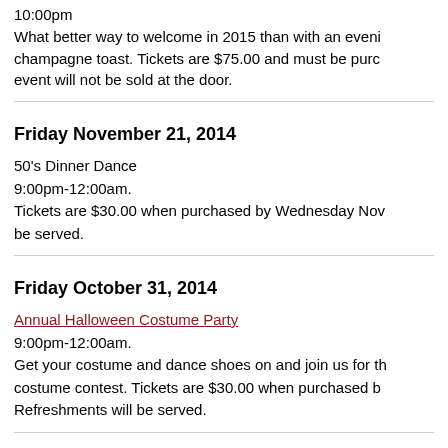10:00pm What better way to welcome in 2015 than with an evening champagne toast. Tickets are $75.00 and must be purchased in advance. Tickets for this event will not be sold at the door.
Friday November 21, 2014
50's Dinner Dance
9:00pm-12:00am.
Tickets are $30.00 when purchased by Wednesday Nov... be served.
Friday October 31, 2014
Annual Halloween Costume Party
9:00pm-12:00am.
Get your costume and dance shoes on and join us for the costume contest. Tickets are $30.00 when purchased b... Refreshments will be served.
Tuesday September 16, 2014
FREE Open House.